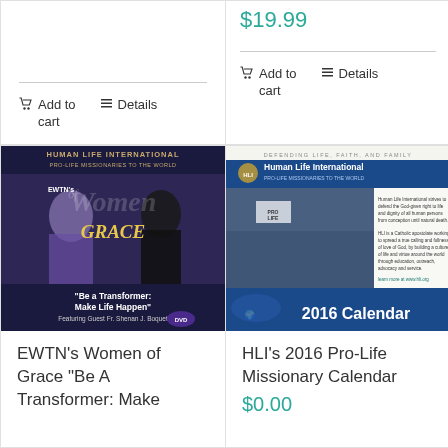Add to cart | Details (top-left card)
Shenan J. Boquet $19.99 Add to cart | Details
[Figure (photo): EWTN Women of Grace DVD featuring Fr. Shenan J. Boquet - 'Be a Transformer: Make Life Happen']
EWTN's Women of Grace "Be A Transformer: Make
[Figure (photo): HLI 2016 Pro-Life Missionary Calendar showing Human Life International branding and pro-life march crowd]
HLI's 2016 Pro-Life Missionary Calendar
$0.00